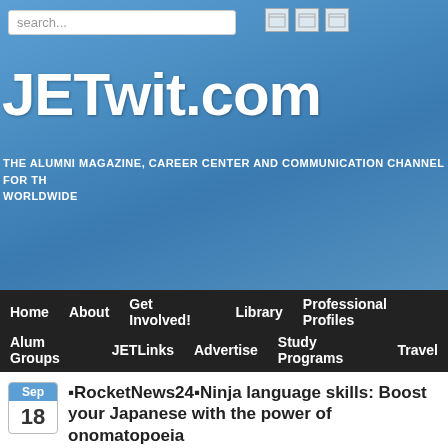JETwit.com — THE ALUMNI MAGAZINE, CAREER CENTER AND COMMUNICATION CHANNEL FOR TH WORLDWIDE
Home  About  Get Involved!  Library  Professional Profiles  Alum Groups  JETLinks  Advertise  Study Programs  Travel
■RocketNews24■Ninja language skills: Boost your Japanese with the power of onomatopoeia
Article/Journalism, Writers  giongo, gitaigo, japanese, Language, onomatopoeia
Comments Off on ■RocketNews24■Ninja language skills: Boost your Japanese wit
Posted
by Michelle Lynn Dinh (Shimane-ken, Chibu-mura, 2010–13), editor and writer fo the following article was written by Philip Kendall (Fukushima-ken, Shirakawa-shi, 2006–) writer for RocketNews24, a Japan-based site dedicated to bringing fun and quirky n English speaking audiences.